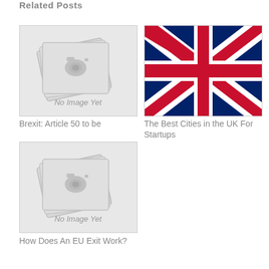Related Posts
[Figure (illustration): No Image Yet placeholder with stacked photo cards graphic]
Brexit: Article 50 to be
[Figure (illustration): UK Union Jack flag image]
The Best Cities in the UK For Startups
[Figure (illustration): No Image Yet placeholder with stacked photo cards graphic]
How Does An EU Exit Work?